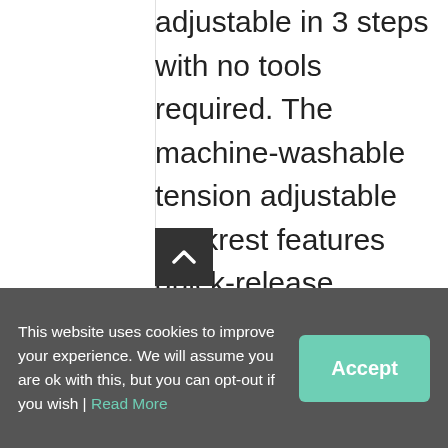adjustable in 3 steps with no tools required. The machine-washable tension adjustable backrest features quick-release buckles which can be easily adjusted to the user.

The XL model provides an additional 8cm of width between the armrests
This website uses cookies to improve your experience. We will assume you are ok with this, but you can opt-out if you wish | Read More